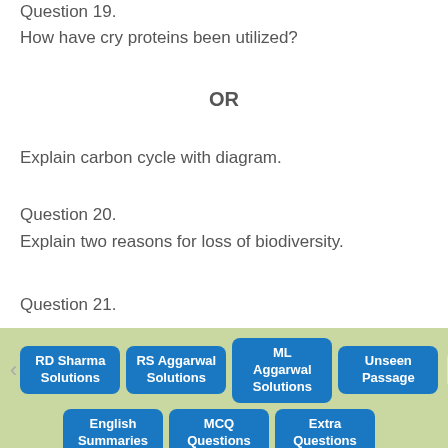Question 19.
How have cry proteins been utilized?
OR
Explain carbon cycle with diagram.
Question 20.
Explain two reasons for loss of biodiversity.
Question 21.
Give some adaptations of desert plants to survive the heat.
[Figure (other): Navigation bar with buttons: RD Sharma Solutions, RS Aggarwal Solutions, ML Aggarwal Solutions, Unseen Passage, English Summaries, MCQ Questions, Extra Questions. Close button on right.]